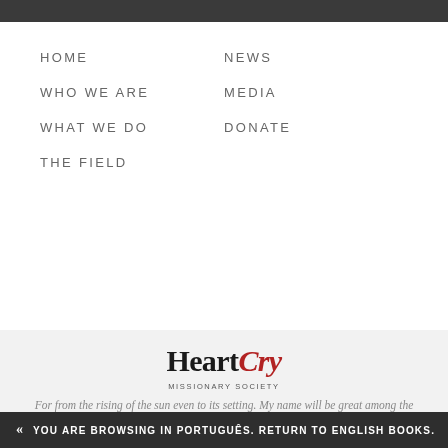HOME
NEWS
WHO WE ARE
MEDIA
WHAT WE DO
DONATE
THE FIELD
[Figure (logo): HeartCry Missionary Society logo with 'Heart' in dark serif and 'Cry' in red italic serif, with 'MISSIONARY SOCIETY' subtitle below]
For from the rising of the sun even to its setting. My name will be great among the nations. –Mal. 1:11
MAILING ADDRESS:
PO Box 3506
« YOU ARE BROWSING IN PORTUGUÊS. RETURN TO ENGLISH BOOKS.